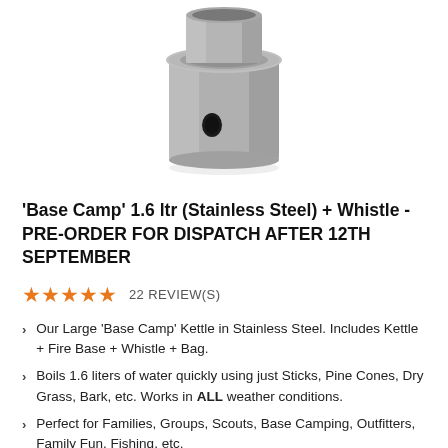[Figure (photo): Stainless steel camp kettle with cylindrical body, flared rim at top, and small hole/vent on the lower side, shown from above against white background.]
'Base Camp' 1.6 ltr (Stainless Steel) + Whistle - PRE-ORDER FOR DISPATCH AFTER 12TH SEPTEMBER
★★★★★  22 REVIEW(S)
Our Large 'Base Camp' Kettle in Stainless Steel. Includes Kettle + Fire Base + Whistle + Bag.
Boils 1.6 liters of water quickly using just Sticks, Pine Cones, Dry Grass, Bark, etc. Works in ALL weather conditions.
Perfect for Families, Groups, Scouts, Base Camping, Outfitters, Family Fun, Fishing, etc.
Great Preparedness Item for Power Shortages, Storms &